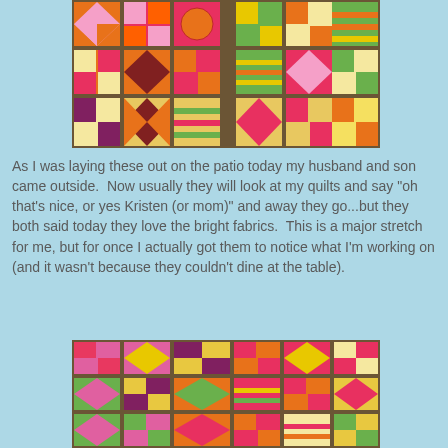[Figure (photo): Colorful patchwork quilt blocks laid out on a patio surface, showing various patterns in bright orange, pink, green, yellow, and red fabrics arranged in a grid.]
As I was laying these out on the patio today my husband and son came outside.  Now usually they will look at my quilts and say "oh that's nice, or yes Kristen (or mom)" and away they go...but they both said today they love the bright fabrics.  This is a major stretch for me, but for once I actually got them to notice what I'm working on (and it wasn't because they couldn't dine at the table).
[Figure (photo): More colorful patchwork quilt blocks laid out on a surface, showing various patterns in bright pink, brown, green, orange, red, and yellow fabrics.]